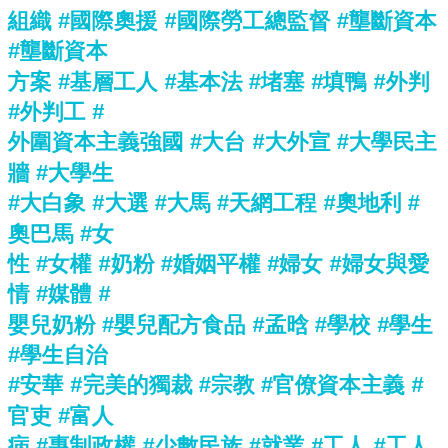組織 #國際奧援 #國際勞工總監督 #壟斷資本 #壟斷資本方案 #基層工人 #基本法 #堵塞 #填鴨 #外判 #外判工 #外圍資本主義強國 #大台 #大外宣 #大學民主牆 #大學生 #大白象 #大選 #大馬 #天網工程 #奧地利 #奧巴馬 #女性 #女權 #奶粉 #婚姻平權 #婦女 #婦女與愛情 #媒體 #嬰兒奶粉 #嬰兒配方食品 #孟晗 #學校 #學生 #學生自治 #安華 #完美的獨裁 #宗教 #官僚資本主義 #官吏 #富人病 #專制政權 #少數民族 #就業 #工人 #工人自強 #工作和生活平衡 #工時 #工時法 #工會 #工會組織 #工業行動 #工運 #工運史 #工黨 #左翼 #左翼勞工黨 #左翼革命家 #左膠 #巫統 #差異原則 #巴勒斯坦 #巴哈瑪度假村 #巴哈馬 #巴士罷駛 #巴士車禍 #巴布亞 #巴西 #巴西勞工黨 #巴黎協定 #市場 #市場原教旨 #布袋彈 #希特拉 #希盟 #帝制 #帝國主義 #平權 #平等 #平野鈴子 #庇護工場 #庫爾德 #廢物回收政策 #廣告 #引渡條例 #張雲帆 #後資本主義 #微軟 #徵稅 #德國 #德國革命 #快時尚 #性別 #性騷擾 #性／別 #恩格斯 #情愛教育 #意大利 #意識形態 #愛國 #愛情 #愛黨主義 #慕尤丁 #慶豐帝 #憲政 #憲法 #懶人包 #懶惰權 #托洛斯基 #抗命時代 #抗命行動 #抗生素 #疏發 #拾平分 #拾蒼者 #拾貝业費 #揭開 #左聯合